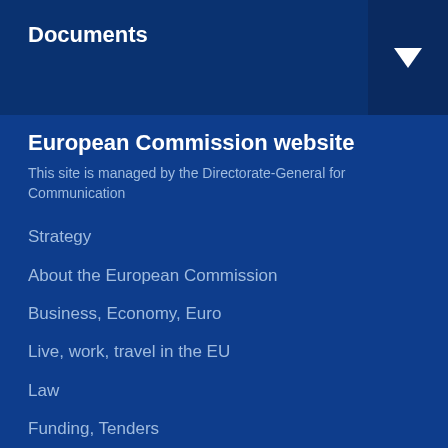Documents
European Commission website
This site is managed by the Directorate-General for Communication
Strategy
About the European Commission
Business, Economy, Euro
Live, work, travel in the EU
Law
Funding, Tenders
Research and innovation
Energy, Climate change, Environment
Education